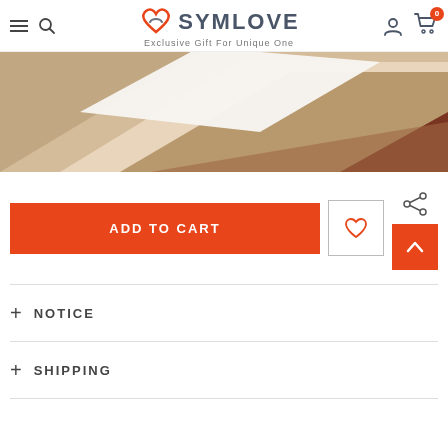[Figure (screenshot): SYMLOVE e-commerce website header with hamburger menu, search icon, SYMLOVE logo with heart icon and tagline 'Exclusive Gift For Unique One', user account icon, and shopping cart icon with badge showing 0]
[Figure (photo): Product image showing layered wood/stone material samples in beige, tan, and dark red/brown colors]
[Figure (screenshot): Add to cart button in orange, wishlist heart button, share icon, and scroll-to-top arrow button in orange]
+ NOTICE
+ SHIPPING